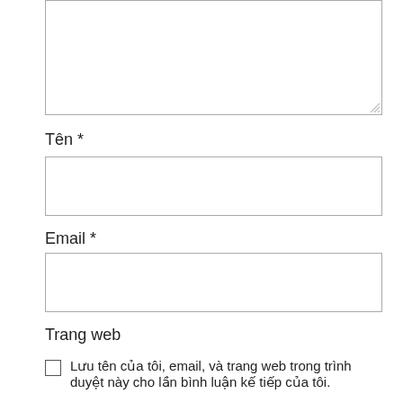[Figure (screenshot): Empty textarea input box at top of page]
Tên *
[Figure (screenshot): Empty text input field for Tên (Name)]
Email *
[Figure (screenshot): Empty text input field for Email]
Trang web
Lưu tên của tôi, email, và trang web trong trình duyệt này cho lần bình luận kế tiếp của tôi.